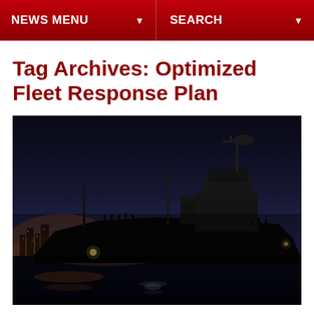NEWS MENU   SEARCH
Tag Archives: Optimized Fleet Response Plan
[Figure (photo): Silhouette of a Navy destroyer ship at dusk/night in port, with crew members visible on deck and city lights reflected on the water in the background.]